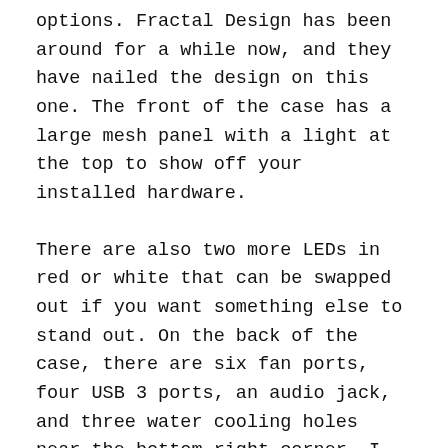options. Fractal Design has been around for a while now, and they have nailed the design on this one. The front of the case has a large mesh panel with a light at the top to show off your installed hardware.
There are also two more LEDs in red or white that can be swapped out if you want something else to stand out. On the back of the case, there are six fan ports, four USB 3 ports, an audio jack, and three water cooling holes near the bottom right corner. I didn't mention how easy it is to install all of your drives because there are plenty of bays!